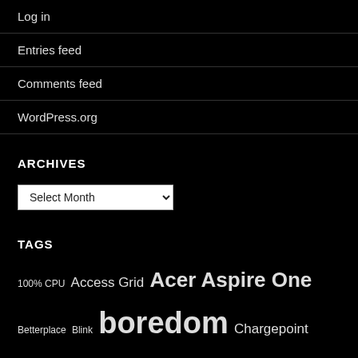Log in
Entries feed
Comments feed
WordPress.org
ARCHIVES
Select Month
TAGS
100% CPU Access Grid Acer Aspire One Betterplace Blink boredom Chargepoint Commbank door bell EV FlirONE Fontforge fronius hardhack Hockey idiots Kuki kym Kymoie LCA linkedin linux linux.conf.au Maitland NBN Netbank Nethook